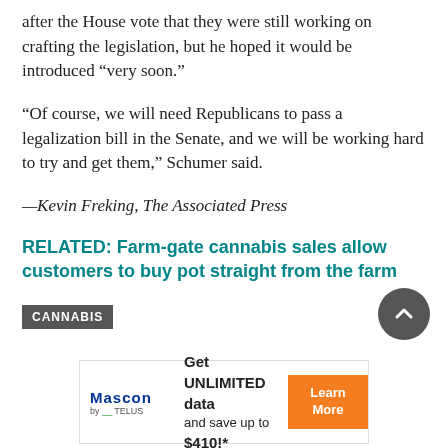after the House vote that they were still working on crafting the legislation, but he hoped it would be introduced “very soon.”
“Of course, we will need Republicans to pass a legalization bill in the Senate, and we will be working hard to try and get them,” Schumer said.
—Kevin Freking, The Associated Press
RELATED: Farm-gate cannabis sales allow customers to buy pot straight from the farm
CANNABIS
[Figure (other): Mascon by TELUS advertisement banner: Get UNLIMITED data and save up to $410!* with a Learn More button]